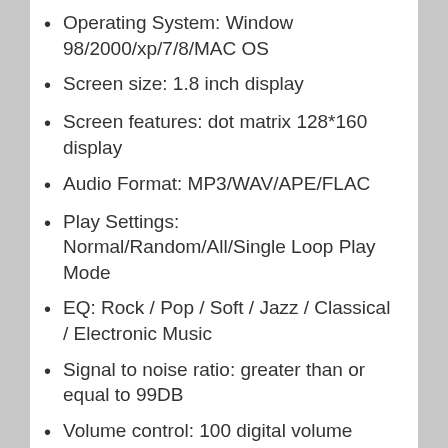Operating System: Window 98/2000/xp/7/8/MAC OS
Screen size: 1.8 inch display
Screen features: dot matrix 128*160 display
Audio Format: MP3/WAV/APE/FLAC
Play Settings: Normal/Random/All/Single Loop Play Mode
EQ: Rock / Pop / Soft / Jazz / Classical / Electronic Music
Signal to noise ratio: greater than or equal to 99DB
Volume control: 100 digital volume control